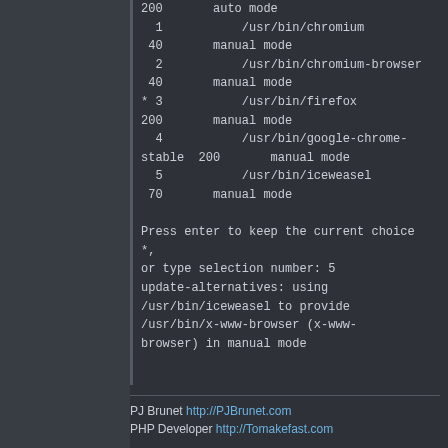200       auto mode
  1           /usr/bin/chromium
 40       manual mode
  2           /usr/bin/chromium-browser
 40       manual mode
* 3           /usr/bin/firefox
200       manual mode
  4           /usr/bin/google-chrome-stable  200       manual mode
  5           /usr/bin/iceweasel
 70       manual mode

Press enter to keep the current choice *,
or type selection number: 5
update-alternatives: using
/usr/bin/iceweasel to provide
/usr/bin/x-www-browser (x-www-
browser) in manual mode
PJ Brunet http://PJBrunet.com
PHP Developer http://Tomakefast.com